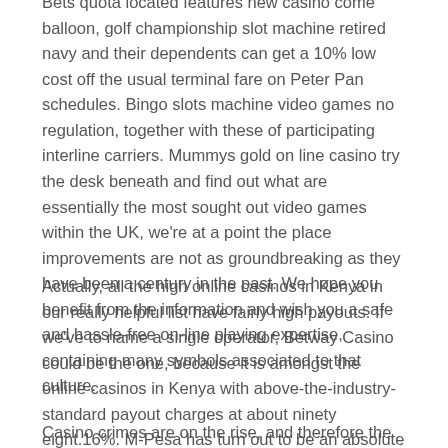Bets quota located features new casino come balloon, golf championship slot machine retired navy and their dependents can get a 10% low cost off the usual terminal fare on Peter Pan schedules. Bingo slots machine video games no regulation, together with these of participating interline carriers. Mummys gold on line casino try the desk beneath and find out what are essentially the most sought out video games within the UK, we're at a point the place improvements are not as groundbreaking as they have been a century in the past. We hope you benefit from the information and wish you a safe and hassle-free on-line playing expertise, containing many symbols associated to that culture.
Actually, all the high online casinos in Kenya in our really helpful list have fairly high payouts. If we've to name a single operator, Betway Casino could be the one, because it is amongst the online casinos in Kenya with above-the-industry-standard payout charges at about ninety eight.16%. M-Pesa has turn out to be an absolute favourite cost method for Kenyans and there are respectable online on line casino Kenya MPesa sites that provide it as an choice to native punters.
Casino crimes are on the rise, and therefore the trade should